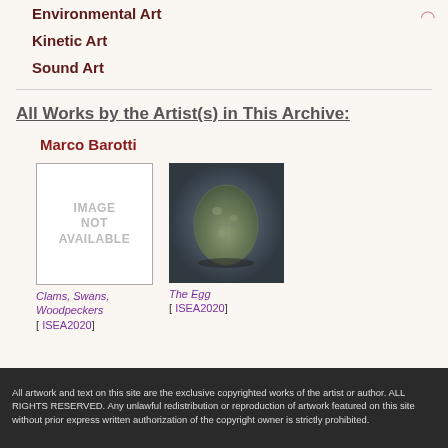Environmental Art
Kinetic Art
Sound Art
All Works by the Artist(s) in This Archive:
Marco Barotti
[Figure (photo): Image not available placeholder thumbnail for artwork 'Clams, Swans, Woodpeckers']
Clams, Swans, Woodpeckers
[ ISEA2020]
[Figure (photo): Photo of an egg-shaped stone or ceramic sculpture on a dark surface, for artwork 'The Egg']
The Egg
[ ISEA2020]
All artwork and text on this site are the exclusive copyrighted works of the artist or author. ALL RIGHTS RESERVED. Any unlawful redistribution or reproduction of artwork featured on this site without prior express written authorization of the copyright owner is strictly prohibited.